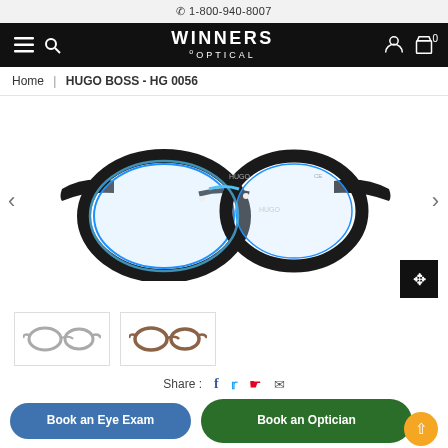☎ 1-800-940-8007
[Figure (logo): Winners Optical logo on black navigation bar with hamburger menu, search icon, account and cart icons]
Home | HUGO BOSS - HG 0056
[Figure (photo): Hugo Boss HG 0056 eyeglasses frame in black with blue accent, shown at an angle, with navigation arrows and expand button]
[Figure (photo): Two thumbnail images of Hugo Boss HG 0056 eyeglasses in different colorways]
Share : f  𝕥  𝕡  ✉
Book an Eye Exam
Book an Optician
[Figure (logo): Hugo Boss brand logo showing BOSS in large bold lettering and HUGO BOSS in smaller text below]